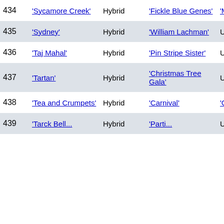| # | Name | Type | Seed Parent | Pod Parent |
| --- | --- | --- | --- | --- |
| 434 | 'Sycamore Creek' | Hybrid | 'Fickle Blue Genes' | 'More Ele... |
| 435 | 'Sydney' | Hybrid | 'William Lachman' | Unknown |
| 436 | 'Taj Mahal' | Hybrid | 'Pin Stripe Sister' | Unknown |
| 437 | 'Tartan' | Hybrid | 'Christmas Tree Gala' | Unknown |
| 438 | 'Tea and Crumpets' | Hybrid | 'Carnival' | 'Crepe Su... |
| 439 | '...' | Hybrid | 'Parti...' | Un... |